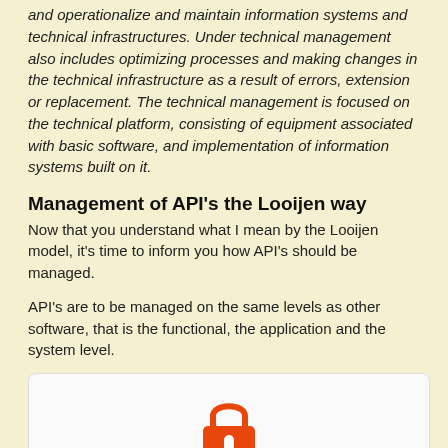and operationalize and maintain information systems and technical infrastructures. Under technical management also includes optimizing processes and making changes in the technical infrastructure as a result of errors, extension or replacement. The technical management is focused on the technical platform, consisting of equipment associated with basic software, and implementation of information systems built on it.
Management of API's the Looijen way
Now that you understand what I mean by the Looijen model, it's time to inform you how API's should be managed.
API's are to be managed on the same levels as other software, that is the functional, the application and the system level.
[Figure (illustration): A white card with rounded corners on a light tan background, showing an orange padlock icon with the label 'Secure' below it, and a partially visible orange element at the bottom left.]